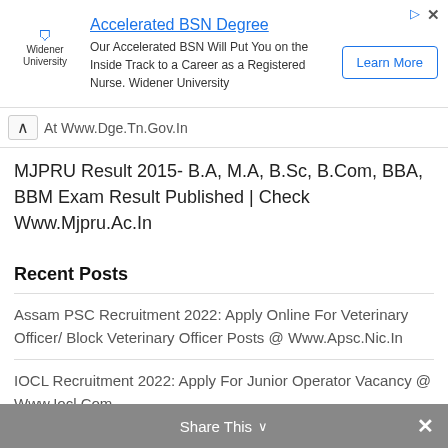[Figure (other): Advertisement banner for Widener University Accelerated BSN Degree program with logo, body text, and Learn More button]
At Www.Dge.Tn.Gov.In
MJPRU Result 2015- B.A, M.A, B.Sc, B.Com, BBA, BBM Exam Result Published | Check Www.Mjpru.Ac.In
Recent Posts
Assam PSC Recruitment 2022: Apply Online For Veterinary Officer/ Block Veterinary Officer Posts @ Www.Apsc.Nic.In
IOCL Recruitment 2022: Apply For Junior Operator Vacancy @ Www.Iocl.Com
Ministry Of Communication Recruitment 2022: Apply For Staff Car Driver Vacancy @ Www.Indiapost.Gov.In
Share This